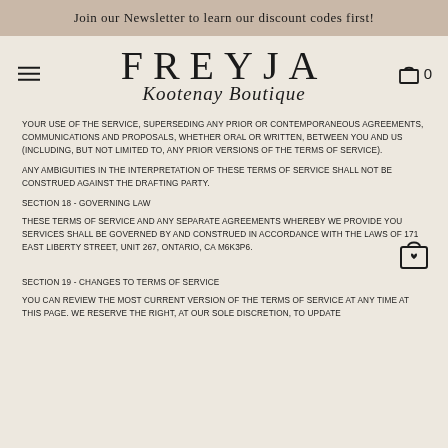Join our Newsletter to learn our discount codes first!
[Figure (logo): Freyja Kootenay Boutique logo with hamburger menu icon and cart icon]
YOUR USE OF THE SERVICE, SUPERSEDING ANY PRIOR OR CONTEMPORANEOUS AGREEMENTS, COMMUNICATIONS AND PROPOSALS, WHETHER ORAL OR WRITTEN, BETWEEN YOU AND US (INCLUDING, BUT NOT LIMITED TO, ANY PRIOR VERSIONS OF THE TERMS OF SERVICE).
ANY AMBIGUITIES IN THE INTERPRETATION OF THESE TERMS OF SERVICE SHALL NOT BE CONSTRUED AGAINST THE DRAFTING PARTY.
SECTION 18 - GOVERNING LAW
THESE TERMS OF SERVICE AND ANY SEPARATE AGREEMENTS WHEREBY WE PROVIDE YOU SERVICES SHALL BE GOVERNED BY AND CONSTRUED IN ACCORDANCE WITH THE LAWS OF 171 EAST LIBERTY STREET, UNIT 267, ONTARIO, CA M6K3P6.
SECTION 19 - CHANGES TO TERMS OF SERVICE
YOU CAN REVIEW THE MOST CURRENT VERSION OF THE TERMS OF SERVICE AT ANY TIME AT THIS PAGE. WE RESERVE THE RIGHT, AT OUR SOLE DISCRETION, TO UPDATE